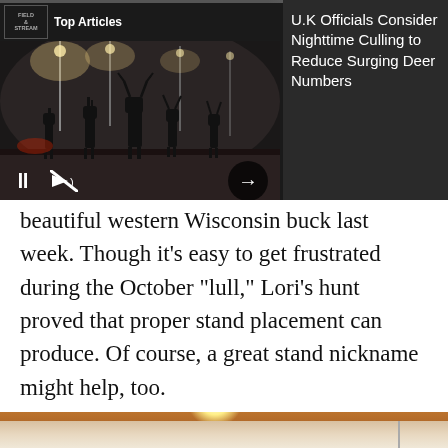[Figure (screenshot): Top Articles widget overlay showing Field & Stream logo, article title 'U.K Officials Consider Nighttime Culling to Reduce Surging Deer Numbers', nighttime photo of deer silhouettes under street lights with video playback controls (pause, mute, forward arrow)]
beautiful western Wisconsin buck last week. Though it’s easy to get frustrated during the October “lull,” Lori’s hunt proved that proper stand placement can produce. Of course, a great stand nickname might help, too.
[Figure (photo): Nighttime outdoor photo with bright light source (lamp/light) visible against dark brownish-orange sky, with reflection or road surface at bottom]